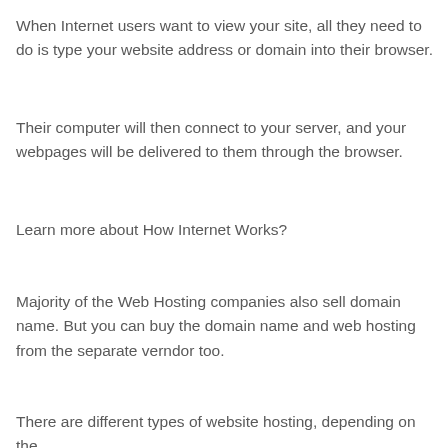When Internet users want to view your site, all they need to do is type your website address or domain into their browser.
Their computer will then connect to your server, and your webpages will be delivered to them through the browser.
Learn more about How Internet Works?
Majority of the Web Hosting companies also sell domain name. But you can buy the domain name and web hosting from the separate verndor too.
There are different types of website hosting, depending on the